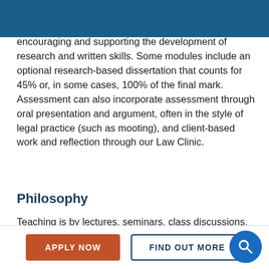encouraging and supporting the development of research and written skills. Some modules include an optional research-based dissertation that counts for 45% or, in some cases, 100% of the final mark. Assessment can also incorporate assessment through oral presentation and argument, often in the style of legal practice (such as mooting), and client-based work and reflection through our Law Clinic.
Philosophy
Teaching is by lectures, seminars, class discussions, and individual and group research, which is